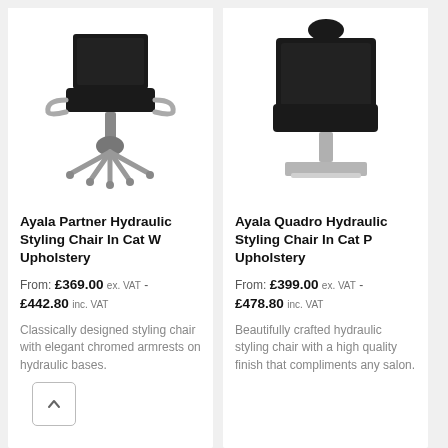[Figure (photo): Ayala Partner Hydraulic Styling Chair - black upholstery with chromed armrests on a five-star hydraulic base with wheels]
Ayala Partner Hydraulic Styling Chair In Cat W Upholstery
From: £369.00 ex. VAT - £442.80 inc. VAT
Classically designed styling chair with elegant chromed armrests on hydraulic bases.
[Figure (photo): Ayala Quadro Hydraulic Styling Chair - black upholstery, square base with chrome column, headrest]
Ayala Quadro Hydraulic Styling Chair In Cat P Upholstery
From: £399.00 ex. VAT - £478.80 inc. VAT
Beautifully crafted hydraulic styling chair with a high quality finish that compliments any salon.